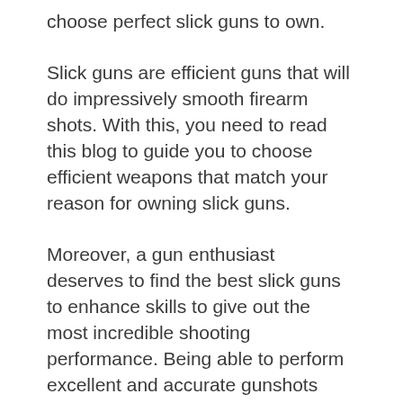choose perfect slick guns to own.
Slick guns are efficient guns that will do impressively smooth firearm shots. With this, you need to read this blog to guide you to choose efficient weapons that match your reason for owning slick guns.
Moreover, a gun enthusiast deserves to find the best slick guns to enhance skills to give out the most incredible shooting performance. Being able to perform excellent and accurate gunshots feels satisfying, right?
So, let's get straight to finding the most